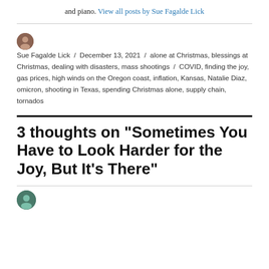and piano. View all posts by Sue Fagalde Lick
Sue Fagalde Lick / December 13, 2021 / alone at Christmas, blessings at Christmas, dealing with disasters, mass shootings / COVID, finding the joy, gas prices, high winds on the Oregon coast, inflation, Kansas, Natalie Diaz, omicron, shooting in Texas, spending Christmas alone, supply chain, tornados
3 thoughts on “Sometimes You Have to Look Harder for the Joy, But It’s There”